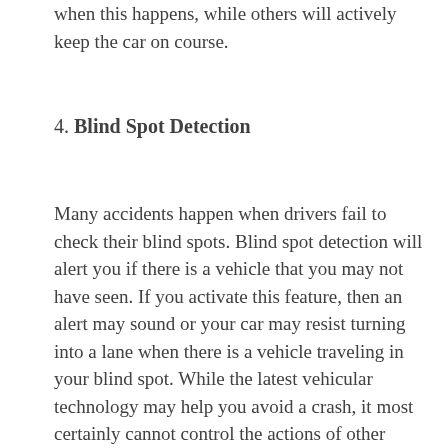when this happens, while others will actively keep the car on course.
4. Blind Spot Detection
Many accidents happen when drivers fail to check their blind spots. Blind spot detection will alert you if there is a vehicle that you may not have seen. If you activate this feature, then an alert may sound or your car may resist turning into a lane when there is a vehicle traveling in your blind spot. While the latest vehicular technology may help you avoid a crash, it most certainly cannot control the actions of other drivers. Fortunately, New York has laws to protect the interests of motorists who fall victim to other people's negligence. If you were in an accident that was not your fault, call Jaroslawicz &